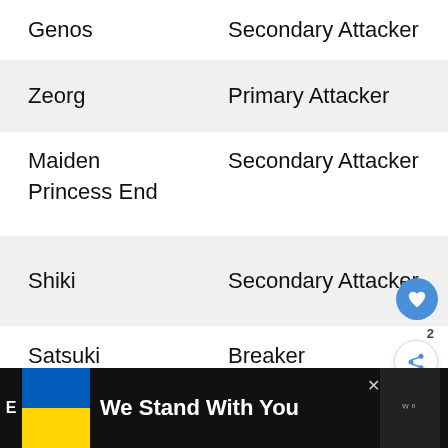| Name | Role |
| --- | --- |
| Genos | Secondary Attacker |
| Zeorg | Primary Attacker |
| Maiden Princess End | Secondary Attacker |
| Shiki | Secondary Attacker |
| Satsuki | Breaker |
[Figure (screenshot): UI overlay with heart/like button (blue circle with heart icon), count '2', and share button (white circle with share icon)]
[Figure (infographic): Ad banner at bottom: Ukraine flag colors (blue and yellow), bold white text 'We Stand With You', close button X, and media app logo]